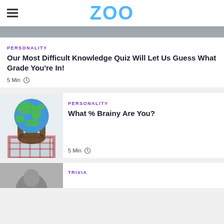ZOO
[Figure (photo): Top cropped photo - partial image visible at top of page]
PERSONALITY
Our Most Difficult Knowledge Quiz Will Let Us Guess What Grade You're In!
5 Min
PERSONALITY
What % Brainy Are You?
[Figure (illustration): Person viewed from behind with a globe/earth as their head, wearing plaid shirt]
5 Min
TRIVIA